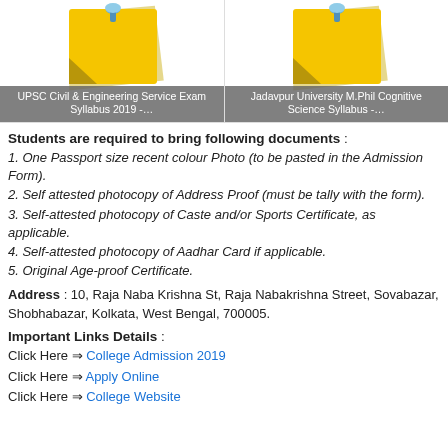[Figure (illustration): Two sticky note icons with push pins side by side. Left note captioned 'UPSC Civil & Engineering Service Exam Syllabus 2019 -...', right note captioned 'Jadavpur University M.Phil Cognitive Science Syllabus -...']
Students are required to bring following documents :
1. One Passport size recent colour Photo (to be pasted in the Admission Form).
2. Self attested photocopy of Address Proof (must be tally with the form).
3. Self-attested photocopy of Caste and/or Sports Certificate, as applicable.
4. Self-attested photocopy of Aadhar Card if applicable.
5. Original Age-proof Certificate.
Address : 10, Raja Naba Krishna St, Raja Nabakrishna Street, Sovabazar, Shobhabazar, Kolkata, West Bengal, 700005.
Important Links Details :
Click Here ⇒ College Admission 2019
Click Here ⇒ Apply Online
Click Here ⇒ College Website